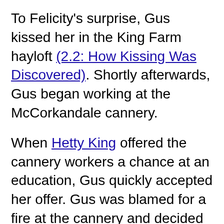To Felicity's surprise, Gus kissed her in the King Farm hayloft (2.2: How Kissing Was Discovered). Shortly afterwards, Gus began working at the McCorkandale cannery.
When Hetty King offered the cannery workers a chance at an education, Gus quickly accepted her offer. Gus was blamed for a fire at the cannery and decided to quit school to repay the damages.
Hetty attempted to get Gus to return, but Gus reluctantly refused. At the Governor's reception, Gus returned and performed a hauntingly beautiful song with his fiddle in honor of Hetty King (2.3: Aunt Hetty's Ordeal). Gus decided to